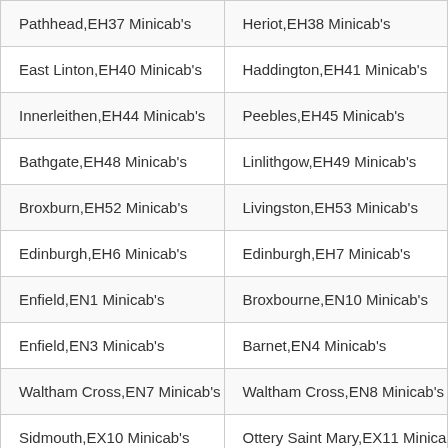| Pathhead,EH37 Minicab's | Heriot,EH38 Minicab's |
| East Linton,EH40 Minicab's | Haddington,EH41 Minicab's |
| Innerleithen,EH44 Minicab's | Peebles,EH45 Minicab's |
| Bathgate,EH48 Minicab's | Linlithgow,EH49 Minicab's |
| Broxburn,EH52 Minicab's | Livingston,EH53 Minicab's |
| Edinburgh,EH6 Minicab's | Edinburgh,EH7 Minicab's |
| Enfield,EN1 Minicab's | Broxbourne,EN10 Minicab's |
| Enfield,EN3 Minicab's | Barnet,EN4 Minicab's |
| Waltham Cross,EN7 Minicab's | Waltham Cross,EN8 Minicab's |
| Sidmouth,EX10 Minicab's | Ottery Saint Mary,EX11 Minicab's |
| Honiton,EX14 Minicab's | Cullompton,EX15 Minicab's |
| Chulmleigh,EX18 Minicab's | Winkleigh,EX19 Minicab's |